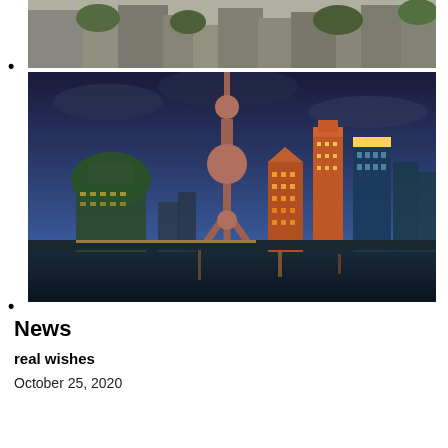[Figure (photo): Partial view of a city with buildings and trees, black and white or muted tones, cropped at top]
•
[Figure (photo): Shanghai skyline at dusk/night, featuring the Oriental Pearl Tower and surrounding illuminated skyscrapers reflected over water]
•
News
real wishes
October 25, 2020